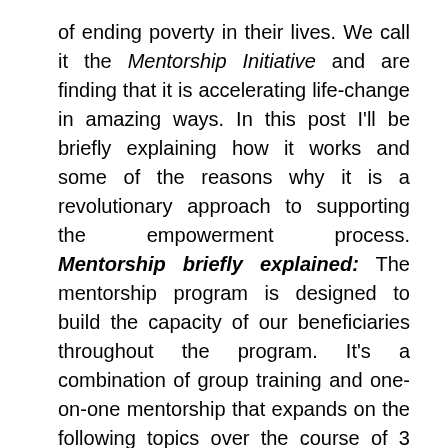of ending poverty in their lives. We call it the Mentorship Initiative and are finding that it is accelerating life-change in amazing ways. In this post I'll be briefly explaining how it works and some of the reasons why it is a revolutionary approach to supporting the empowerment process. Mentorship briefly explained: The mentorship program is designed to build the capacity of our beneficiaries throughout the program. It's a combination of group training and one-on-one mentorship that expands on the following topics over the course of 3 years: personal budgeting, savings and loaning practices and business development. These are areas that we find directly correspond with the beneficiaries' personal development as they get used to having an income and learn how to channel it to make